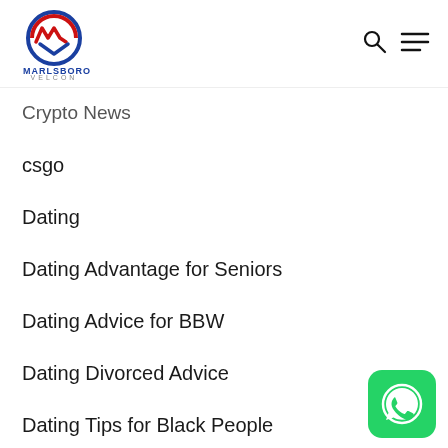MARLSBORO VELCON
Crypto News
csgo
Dating
Dating Advantage for Seniors
Dating Advice for BBW
Dating Divorced Advice
Dating Tips for Black People
Dating Tips for Christian
Dating Tips for Professional